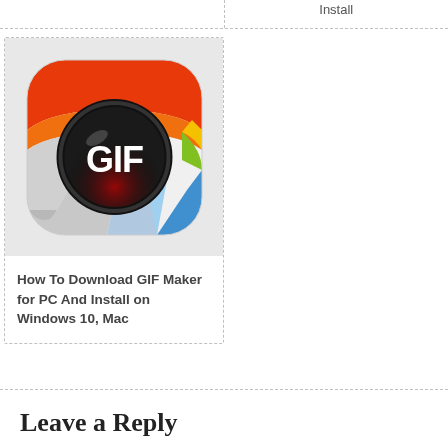Install
[Figure (screenshot): GIF Maker app icon — colorful rainbow background with a black circular badge showing 'GIF' in white bold text]
How To Download GIF Maker for PC And Install on Windows 10, Mac
Leave a Reply